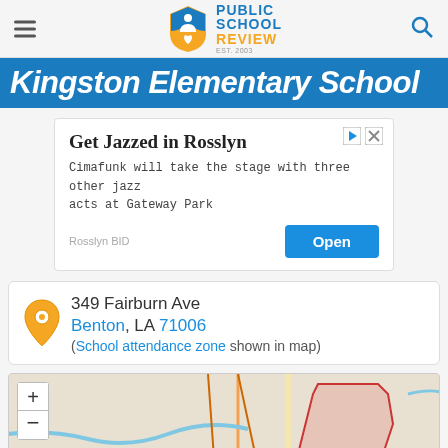Public School Review
Kingston Elementary School
[Figure (infographic): Advertisement banner: Get Jazzed in Rosslyn - Cimafunk will take the stage with three other jazz acts at Gateway Park. Rosslyn BID. Open button.]
349 Fairburn Ave
Benton, LA 71006
(School attendance zone shown in map)
[Figure (map): Interactive map showing the school attendance zone for Kingston Elementary School in Benton, LA. The attendance zone is outlined in red with a pink fill. Map includes zoom controls and expand button. A location pin marker is visible near the bottom of the map.]